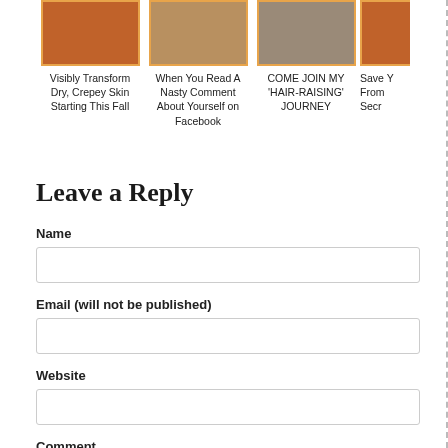[Figure (photo): Thumbnail image 1 - warm orange/rust colored background with illustrated figure]
Visibly Transform Dry, Crepey Skin Starting This Fall
[Figure (photo): Thumbnail image 2 - person in tan/brown clothing]
When You Read A Nasty Comment About Yourself on Facebook
[Figure (photo): Thumbnail image 3 - person with hair product/green background]
COME JOIN MY 'HAIR-RAISING' JOURNEY
[Figure (photo): Thumbnail image 4 (partial) - orange background, partially visible]
Save Y From Secr
Leave a Reply
Name
Email (will not be published)
Website
Comment